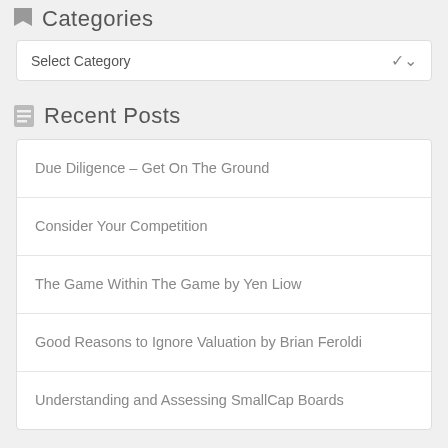Categories
Select Category
Recent Posts
Due Diligence – Get On The Ground
Consider Your Competition
The Game Within The Game by Yen Liow
Good Reasons to Ignore Valuation by Brian Feroldi
Understanding and Assessing SmallCap Boards